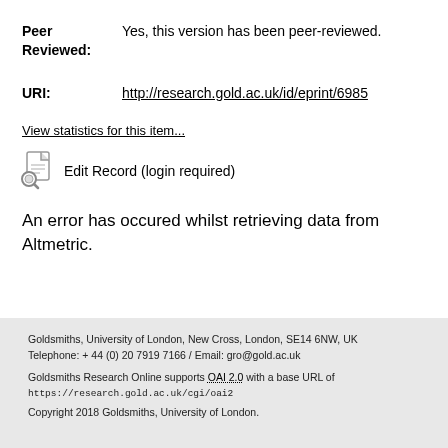Peer Reviewed: Yes, this version has been peer-reviewed.
URI: http://research.gold.ac.uk/id/eprint/6985
View statistics for this item...
[Figure (other): Edit Record icon (document with magnifying glass)]
Edit Record (login required)
An error has occured whilst retrieving data from Altmetric.
Goldsmiths, University of London, New Cross, London, SE14 6NW, UK Telephone: + 44 (0) 20 7919 7166 / Email: gro@gold.ac.uk
Goldsmiths Research Online supports OAI 2.0 with a base URL of https://research.gold.ac.uk/cgi/oai2
Copyright 2018 Goldsmiths, University of London.